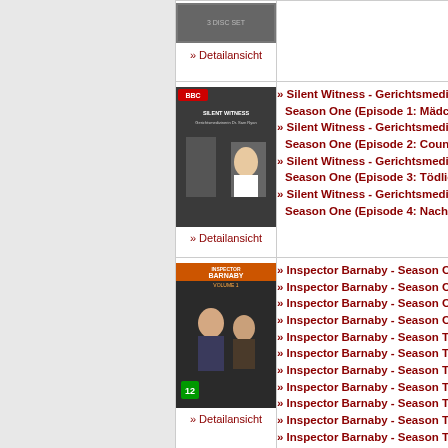| [DVD cover image] | » Detailansicht |  |
| [Silent Witness DVD cover] | » Detailansicht | » Silent Witness - Gerichtsmedizi... Season One (Episode 1: Mädche...
» Silent Witness - Gerichtsmedizi... Season One (Episode 2: Countdo...
» Silent Witness - Gerichtsmedizi... Season One (Episode 3: Tödliche...
» Silent Witness - Gerichtsmedizi... Season One (Episode 4: Nacht oh... |
| [Inspector Barnaby DVD cover] | » Detailansicht | » Inspector Barnaby - Season On...
» Inspector Barnaby - Season On...
» Inspector Barnaby - Season On...
» Inspector Barnaby - Season On...
» Inspector Barnaby - Season Tw...
» Inspector Barnaby - Season Tw...
» Inspector Barnaby - Season Tw...
» Inspector Barnaby - Season Tw...
» Inspector Barnaby - Season Th...
» Inspector Barnaby - Season Th...
» Inspector Barnaby - Season Th...
» Inspector Barnaby - Season Th...
» Inspector Barnaby - Season Fo...
» Inspector Barnaby - Season Fo...
» Inspector Barnaby - Season Fo...
» Inspector Barnaby - Season Fo...
» Inspector Barnaby - Season Fiv...
» Inspector Barnaby - Season Fiv... |